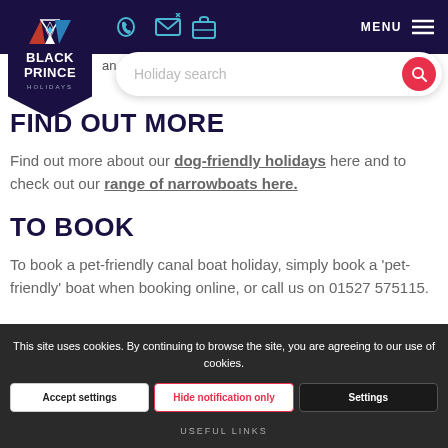BLACK PRINCE HOLIDAYS — navigation header with logo, phone, email, briefcase icons, and MENU
an additional charge for this.
Holiday search
FIND OUT MORE
Find out more about our dog-friendly holidays here and to check out our range of narrowboats here.
TO BOOK
To book a pet-friendly canal boat holiday, simply book a 'pet-friendly' boat when booking online, or call us on 01527 575115.
This site uses cookies. By continuing to browse the site, you are agreeing to our use of cookies.
Accept settings | Hide notification only | Settings
USEFUL LINKS